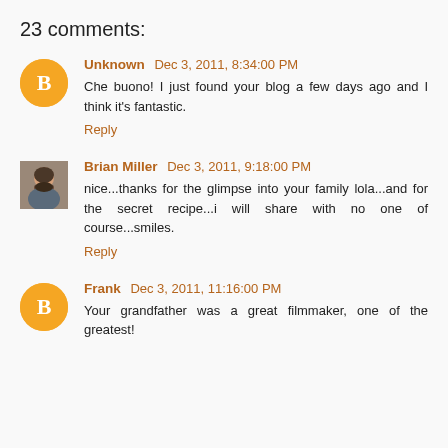23 comments:
Unknown Dec 3, 2011, 8:34:00 PM
Che buono! I just found your blog a few days ago and I think it's fantastic.
Reply
Brian Miller Dec 3, 2011, 9:18:00 PM
nice...thanks for the glimpse into your family lola...and for the secret recipe...i will share with no one of course...smiles.
Reply
Frank Dec 3, 2011, 11:16:00 PM
Your grandfather was a great filmmaker, one of the greatest!